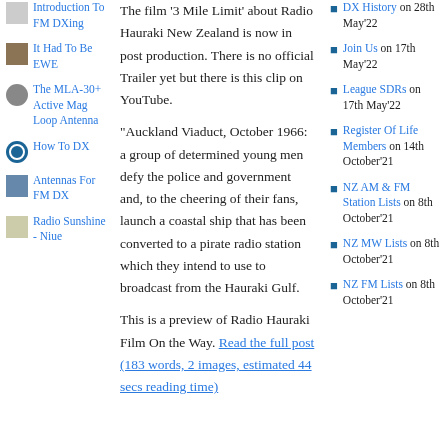Introduction To FM DXing
It Had To Be EWE
The MLA-30+ Active Mag Loop Antenna
How To DX
Antennas For FM DX
Radio Sunshine - Niue
The film '3 Mile Limit' about Radio Hauraki New Zealand is now in post production. There is no official Trailer yet but there is this clip on YouTube.
“Auckland Viaduct, October 1966: a group of determined young men defy the police and government and, to the cheering of their fans, launch a coastal ship that has been converted to a pirate radio station which they intend to use to broadcast from the Hauraki Gulf.
This is a preview of Radio Hauraki Film On the Way. Read the full post (183 words, 2 images, estimated 44 secs reading time)
DX History on 28th May'22
Join Us on 17th May'22
League SDRs on 17th May'22
Register Of Life Members on 14th October'21
NZ AM & FM Station Lists on 8th October'21
NZ MW Lists on 8th October'21
NZ FM Lists on 8th October'21